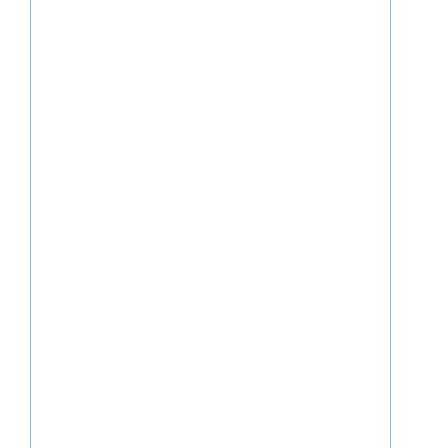|  |  | check | icon | name |
| --- | --- | --- | --- | --- |
|  |  | ✓ | grid | p |
|  |  | ✓ | grid | p |
|  |  | ✓ | grid | pm |
|  |  | ✓ | grid | ps |
|  |  | ✓ | grid | p |
|  |  | ✓ | grid | qu |
|  |  | ✓ | grid | ro |
|  |  | ✓ | grid | roa- |
|  |  | ✓ | grid | ru |